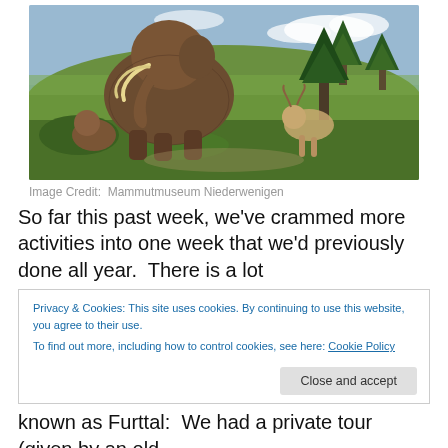[Figure (illustration): Painting of a woolly mammoth in a prehistoric landscape with trees, a bear cub, and deer in the background under a blue sky]
Image Credit:  Mammutmuseum Niederwenigen
So far this past week, we've crammed more activities into one week that we'd previously done all year.  There is a lot
Privacy & Cookies: This site uses cookies. By continuing to use this website, you agree to their use.
To find out more, including how to control cookies, see here: Cookie Policy
known as Furttal:  We had a private tour (given by an old